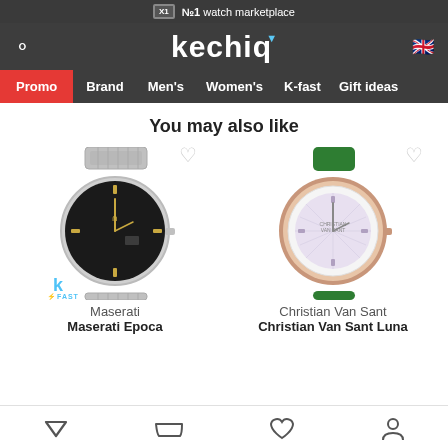№1 watch marketplace
kechiq
You may also like
[Figure (photo): Maserati Epoca men's watch with black dial and silver bracelet, with K-fast 24h badge]
Maserati
Maserati Epoca
[Figure (photo): Christian Van Sant Luna women's watch with mother-of-pearl dial and green leather strap]
Christian Van Sant
Christian Van Sant Luna